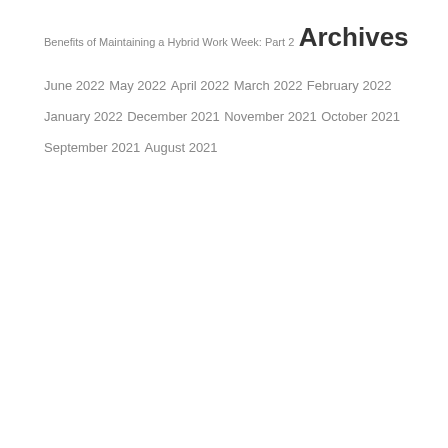Benefits of Maintaining a Hybrid Work Week: Part 2
Archives
June 2022
May 2022
April 2022
March 2022
February 2022
January 2022
December 2021
November 2021
October 2021
September 2021
August 2021